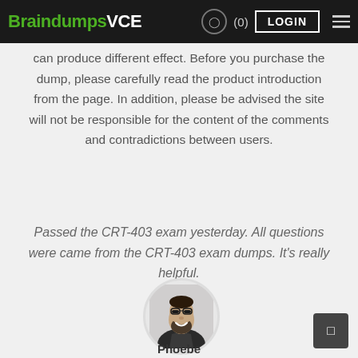BraindumpsVCE (0) LOGIN
can produce different effect. Before you purchase the dump, please carefully read the product introduction from the page. In addition, please be advised the site will not be responsible for the content of the comments and contradictions between users.
Passed the CRT-403 exam yesterday. All questions were came from the CRT-403 exam dumps. It's really helpful.
[Figure (photo): Circular avatar photo of a bearded man wearing glasses, smiling]
Phoebe